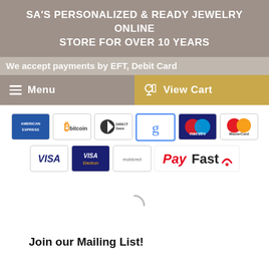SA'S PERSONALIZED & READY JEWELRY ONLINE STORE FOR OVER 10 YEARS
We accept payments by EFT, Debit Card
Menu
View Cart
[Figure (logo): Payment method logos: American Express, Bitcoin, Direct Debit, Google, Maestro, MasterCard, Visa, Visa Electron, Mobicred, PayFast]
Join our Mailing List!